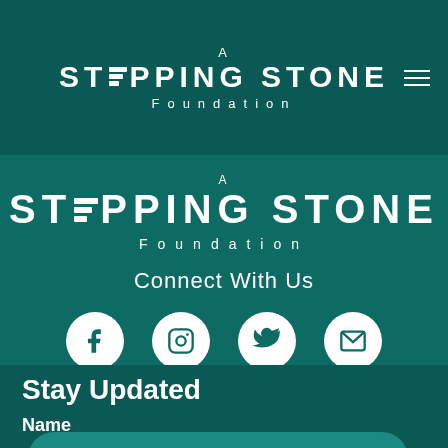[Figure (logo): A Stepping Stone Foundation logo in navigation bar — white text with stacked lines replacing the E in STEPPING]
[Figure (logo): A Stepping Stone Foundation logo large version — white text with stacked lines replacing the E in STEPPING]
Connect With Us
[Figure (infographic): Four social media icons in white circles on teal background: Facebook, Instagram, Twitter, Email]
Stay Updated
Name